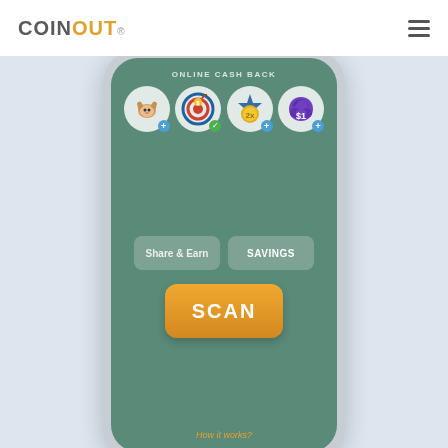[Figure (logo): CoinOut logo with COIN in dark gray and OUT in orange/gold, with registered trademark symbol]
[Figure (screenshot): Mobile phone screenshot showing CoinOut app interface with ONLINE CASH BACK label, four circular icons (dog, target with dollar, medal 2x, $1 club), Share & Earn and SAVINGS buttons, and a large orange SCAN button, plus 'How it works?' link at the bottom]